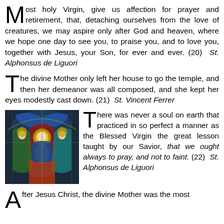Most holy Virgin, give us affection for prayer and retirement, that, detaching ourselves from the love of creatures, we may aspire only after God and heaven, where we hope one day to see you, to praise you, and to love you, together with Jesus, your Son, for ever and ever. (20)  St. Alphonsus de Liguori
The divine Mother only left her house to go the temple, and then her demeanor was all composed, and she kept her eyes modestly cast down. (21)  St. Vincent Ferrer
[Figure (photo): Stained glass window depicting religious figures including the Virgin Mary and other holy persons with colorful blue, red, green, and gold tones.]
There was never a soul on earth that practiced in so perfect a manner as the Blessed Virgin the great lesson taught by our Savior, that we ought always to pray, and not to faint. (22)  St. Alphonsus de Liguori
After Jesus Christ, the divine Mother was the most